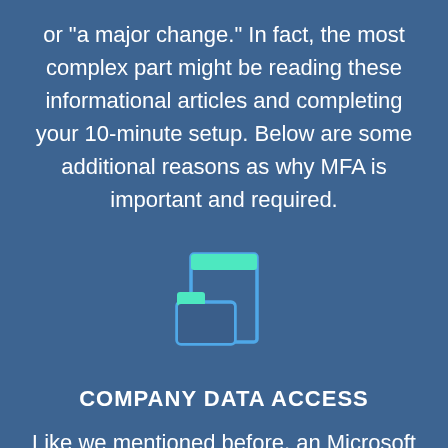or "a major change." In fact, the most complex part might be reading these informational articles and completing your 10-minute setup. Below are some additional reasons as why MFA is important and required.
[Figure (illustration): Icon of a file cabinet with a folder, outlined in blue with teal/green accent on top, on a blue background.]
COMPANY DATA ACCESS
Like we mentioned before, an Microsoft 365 account has the potential to access a lot of